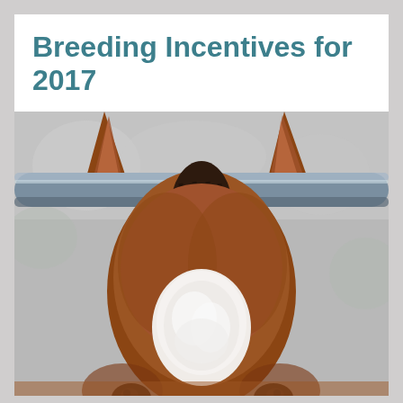Breeding Incentives for 2017
[Figure (photo): Close-up photograph of a chestnut horse with a white blaze on its forehead, viewed from the front/top, with its head under a metal fence rail. The horse's ears are visible on each side of the rail, and its dark mane and brown coat are visible. The background is blurred gray/green.]